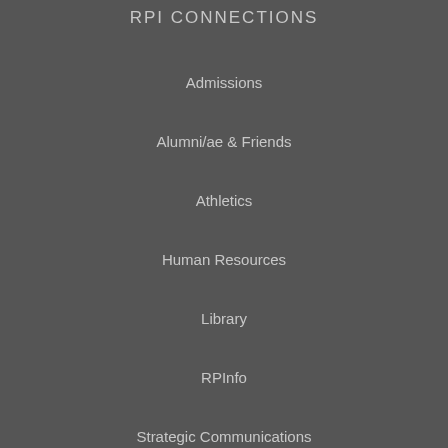RPI CONNECTIONS
Admissions
Alumni/ae & Friends
Athletics
Human Resources
Library
RPInfo
Strategic Communications
Veterans